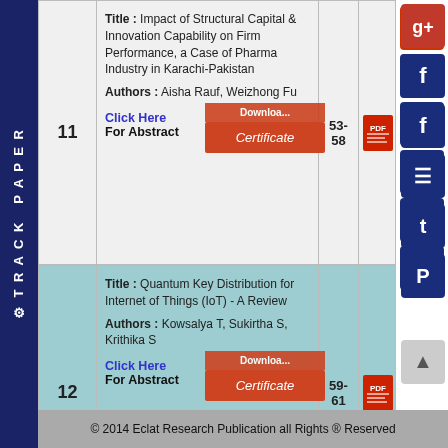| # | Title/Authors | Pages | PDF |
| --- | --- | --- | --- |
| 11 | Title: Impact of Structural Capital & Innovation Capability on Firm Performance, a Case of Pharma Industry in Karachi-Pakistan
Authors: Aisha Rauf, Weizhong Fu | 53-58 | [PDF] |
| 12 | Title: Quantum Key Distribution for Internet of Things (IoT) - A Review
Authors: Kowsalya T, Sukirtha S, Krithika S | 59-61 | [PDF] |
© 2014 Eclat Research Publication all Rights ® Reserved